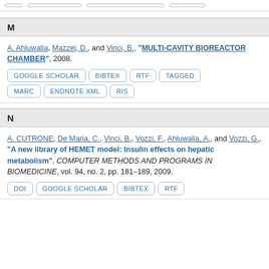[stub buttons at top]
M
A. Ahluwalia, Mazzei, D., and Vinci, B., "MULTI-CAVITY BIOREACTOR CHAMBER", 2008.
GOOGLE SCHOLAR | BIBTEX | RTF | TAGGED | MARC | ENDNOTE XML | RIS
N
A. CUTRONE, De Maria, C., Vinci, B., Vozzi, F., Ahluwalia, A., and Vozzi, G., "A new library of HEMET model: Insulin effects on hepatic metabolism", COMPUTER METHODS AND PROGRAMS IN BIOMEDICINE, vol. 94, no. 2, pp. 181–189, 2009.
DOI | GOOGLE SCHOLAR | BIBTEX | RTF